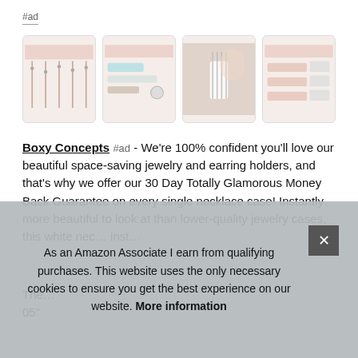#ad
[Figure (photo): Four product thumbnail images of jewelry holders/necklace cases displayed in a horizontal row]
Boxy Concepts #ad - We're 100% confident you'll love our beautiful space-saving jewelry and earring holders, and that's why we offer our 30 Day Totally Glamorous Money Back Guarantee on every single necklace case! Instantly more beautiful to look at than lower-quality jewelry cases, this white nec... inst...
The... 05"
As an Amazon Associate I earn from qualifying purchases. This website uses the only necessary cookies to ensure you get the best experience on our website. More information